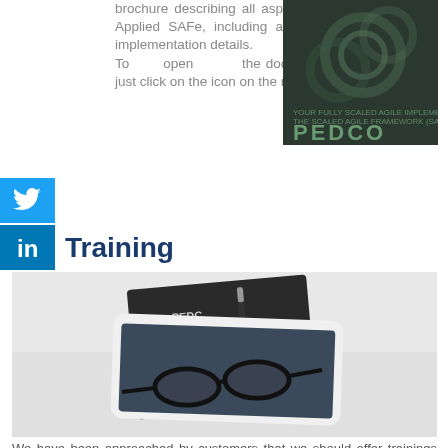brochure describing all aspects of Applied SAFe, including a lot of implementation details.
To open the document just click on the icon on the right:
[Figure (photo): PEDCO brochure cover with gears/machinery background and PEDCO logo]
[Figure (logo): Twitter bird icon on blue background]
[Figure (logo): LinkedIn 'in' logo on blue background]
Training
[Figure (photo): Tablet with glasses and PEDCO notebook on white surface]
We have been approached by customers that we should offer trainings not only for Applied SAFe but also provide training with our knowledge in process management, compliance, HR and SAFe. As of today, we present the following, bookable